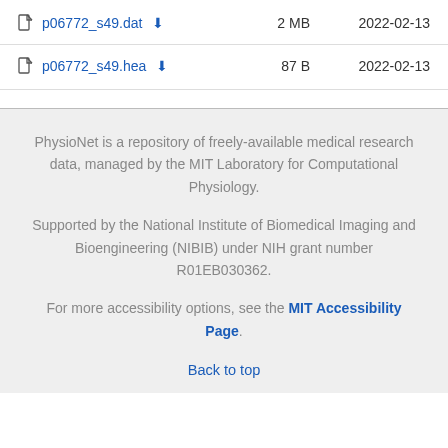p06772_s49.dat  2 MB  2022-02-13
p06772_s49.hea  87 B  2022-02-13
PhysioNet is a repository of freely-available medical research data, managed by the MIT Laboratory for Computational Physiology.
Supported by the National Institute of Biomedical Imaging and Bioengineering (NIBIB) under NIH grant number R01EB030362.
For more accessibility options, see the MIT Accessibility Page.
Back to top